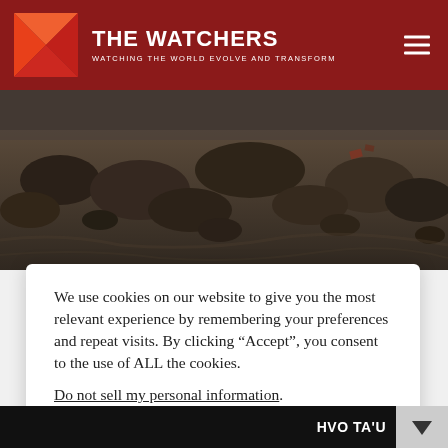THE WATCHERS — WATCHING THE WORLD EVOLVE AND TRANSFORM
[Figure (photo): Aerial or ground-level view of rocky, muddy terrain with scattered debris and boulders]
We use cookies on our website to give you the most relevant experience by remembering your preferences and repeat visits. By clicking “Accept”, you consent to the use of ALL the cookies.
Do not sell my personal information.
HVO TA'U